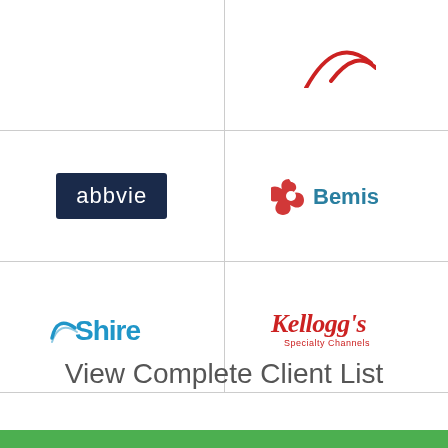[Figure (logo): Partial logo (red swoosh) visible at top right cell]
[Figure (logo): AbbVie logo: white text on dark navy background rectangle]
[Figure (logo): Bemis logo: red circular flower/pinwheel icon with 'Bemis' text in teal]
[Figure (logo): Shire logo: blue arc/swoosh with 'Shire' text in blue]
[Figure (logo): Kellogg's Specialty Channels logo: red cursive script]
View Complete Client List